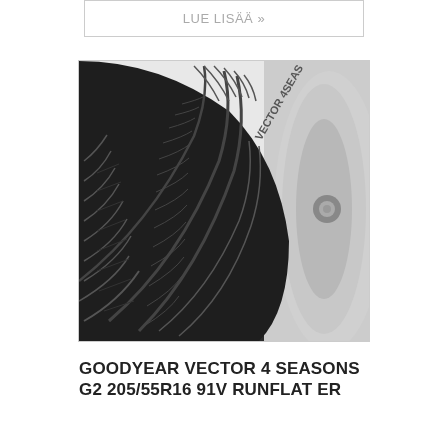LUE LISÄÄ »
[Figure (photo): Close-up photo of a Goodyear Vector 4 Seasons G2 tyre showing tread pattern and sidewall with 'VECTOR 4SEAS' text visible, with partial view of a silver alloy wheel rim on the right side.]
GOODYEAR VECTOR 4 SEASONS G2 205/55R16 91V RUNFLAT ER